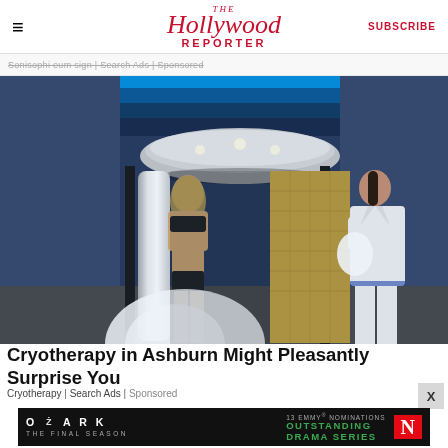The Hollywood Reporter | SUBSCRIBE
Sonisophi eum sign | Search Ads | Sponsored
[Figure (photo): Cryotherapy chamber with woman in black bikini standing inside chamber with mist/fog, attended by a woman in white coat, blue LED lighting on ceiling, gold quilted panel visible]
Cryotherapy in Ashburn Might Pleasantly Surprise You
Cryotherapy | Search Ads | Sponsored
[Figure (screenshot): Ozark The Final Season - 13 Emmy Nominations Outstanding Drama Series Netflix advertisement banner]